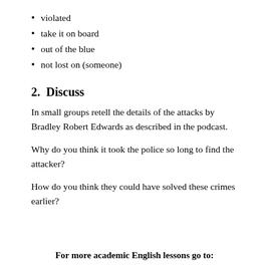violated
take it on board
out of the blue
not lost on (someone)
2.  Discuss
In small groups retell the details of the attacks by Bradley Robert Edwards as described in the podcast.
Why do you think it took the police so long to find the attacker?
How do you think they could have solved these crimes earlier?
For more academic English lessons go to: